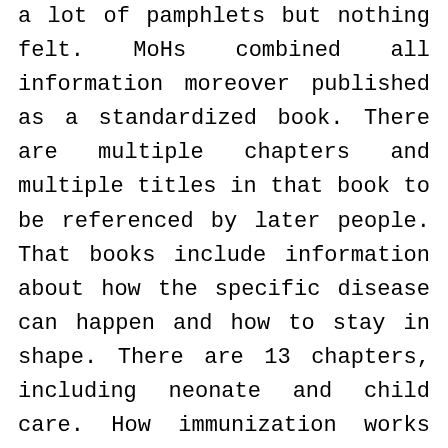a lot of pamphlets but nothing felt. MoHs combined all information moreover published as a standardized book. There are multiple chapters and multiple titles in that book to be referenced by later people. That books include information about how the specific disease can happen and how to stay in shape. There are 13 chapters, including neonate and child care. How immunization works and how to consume foods, transmissible and non-transmissible diseases, caring of elderly and traditional medicines are also included. The book is in two formats as an e-book and as a real book. However, there is no information published on the internet. We have a habit of reading over the internet in the current. We are